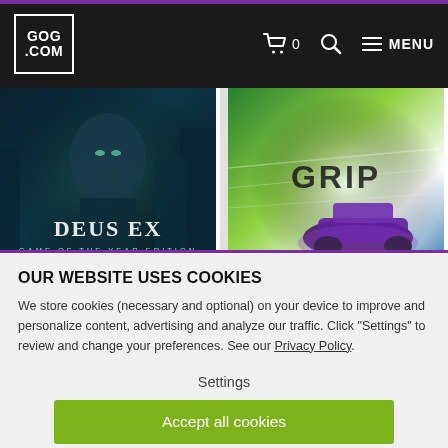GOG.COM — navigation header with cart (0), search, and MENU
[Figure (screenshot): Deus Ex Game of the Year Edition game cover art — dark sci-fi figure with glowing city]
Deus Ex™ GOTY Edition
[Figure (screenshot): GRIP racing game cover art — futuristic racing cars with speed blur effects]
GRIP
OUR WEBSITE USES COOKIES
We store cookies (necessary and optional) on your device to improve and personalize content, advertising and analyze our traffic. Click "Settings" to review and change your preferences. See our Privacy Policy.
Settings
Accept all cookies
F.E.A.R. Platinum
Robin Hood: The Legend of